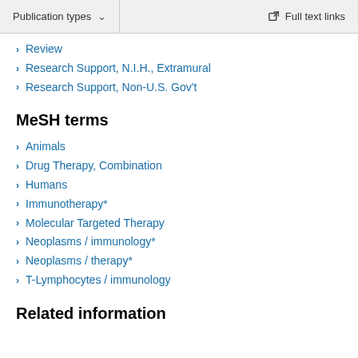Publication types | Full text links
Review
Research Support, N.I.H., Extramural
Research Support, Non-U.S. Gov't
MeSH terms
Animals
Drug Therapy, Combination
Humans
Immunotherapy*
Molecular Targeted Therapy
Neoplasms / immunology*
Neoplasms / therapy*
T-Lymphocytes / immunology
Related information